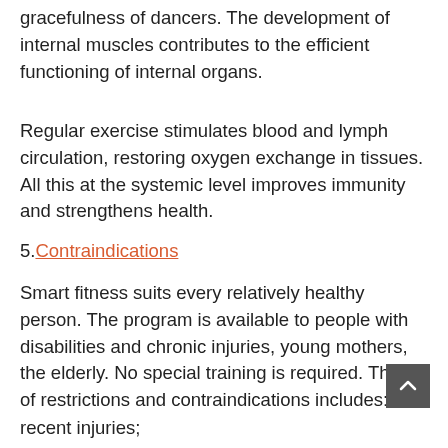gracefulness of dancers. The development of internal muscles contributes to the efficient functioning of internal organs.
Regular exercise stimulates blood and lymph circulation, restoring oxygen exchange in tissues. All this at the systemic level improves immunity and strengthens health.
5. Contraindications
Smart fitness suits every relatively healthy person. The program is available to people with disabilities and chronic injuries, young mothers, the elderly. No special training is required. The list of restrictions and contraindications includes:
recent injuries;